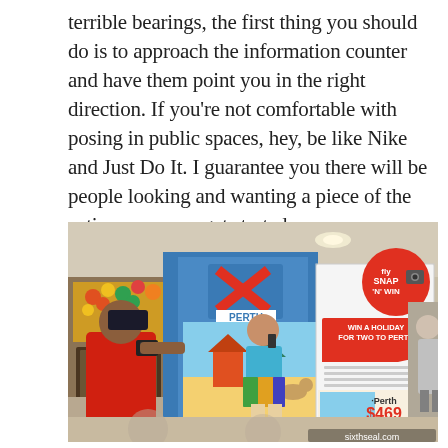terrible bearings, the first thing you should do is to approach the information counter and have them point you in the right direction. If you're not comfortable with posing in public spaces, hey, be like Nike and Just Do It. I guarantee you there will be people looking and wanting a piece of the action once you get started.
[Figure (photo): Photo taken inside a shopping mall. A person in a red shirt is photographing a woman posing in front of an AirAsia 'Snap N Win' promotional display for Perth flights ($469). The display shows 'Win a holiday for two to Perth' signage. Watermark reads sixthseal.com.]